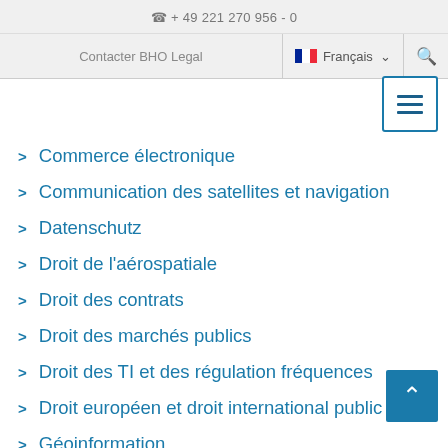+ 49 221 270 956 - 0
Contacter BHO Legal | Français
Commerce électronique
Communication des satellites et navigation
Datenschutz
Droit de l'aérospatiale
Droit des contrats
Droit des marchés publics
Droit des TI et des régulation fréquences
Droit européen et droit international public
Géoinformation
Open Data